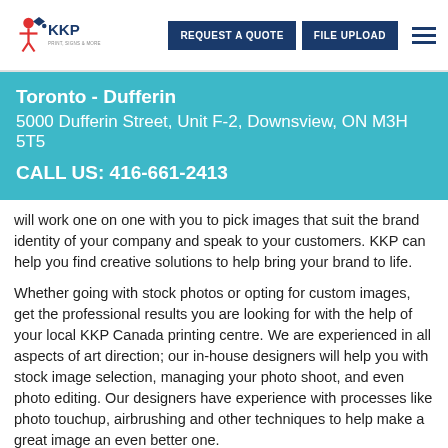KKP | REQUEST A QUOTE | FILE UPLOAD
Toronto - Dufferin
5000 Dufferin Street, Unit F-2, Downsview, ON M3H 5T5
CALL US: 416-661-2413
will work one on one with you to pick images that suit the brand identity of your company and speak to your customers. KKP can help you find creative solutions to help bring your brand to life.
Whether going with stock photos or opting for custom images, get the professional results you are looking for with the help of your local KKP Canada printing centre. We are experienced in all aspects of art direction; our in-house designers will help you with stock image selection, managing your photo shoot, and even photo editing. Our designers have experience with processes like photo touchup, airbrushing and other techniques to help make a great image an even better one.